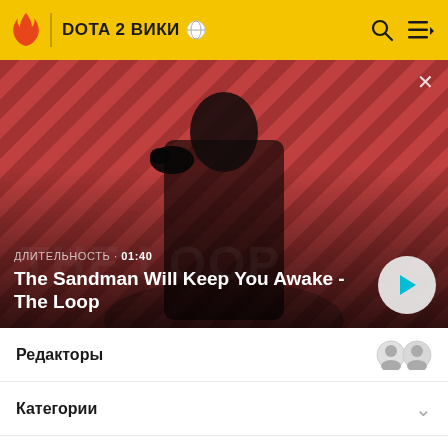DOTA 2 ВИКИ
[Figure (screenshot): Video thumbnail showing a dark figure with a raven on shoulder against a red striped background, with title 'The Sandman Will Keep You Awake - The Loop', duration 01:40, and a play button.]
ДЛИТЕЛЬНОСТЬ · 01:40
The Sandman Will Keep You Awake - The Loop
Редакторы
Категории
На других языках: